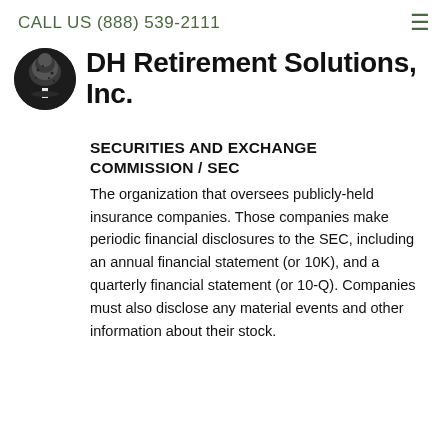CALL US (888) 539-2111
[Figure (logo): DH Retirement Solutions, Inc. logo with tree icon in a circle and bold company name text]
SECURITIES AND EXCHANGE COMMISSION / SEC
The organization that oversees publicly-held insurance companies. Those companies make periodic financial disclosures to the SEC, including an annual financial statement (or 10K), and a quarterly financial statement (or 10-Q). Companies must also disclose any material events and other information about their stock.